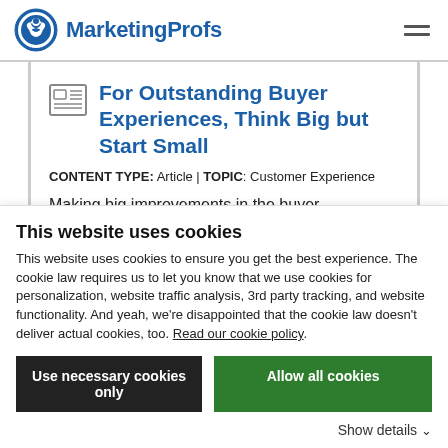MarketingProfs
For Outstanding Buyer Experiences, Think Big but Start Small
CONTENT TYPE: Article | TOPIC: Customer Experience
Making big improvements in the buyer experience doesn't have to mean a massive...
This website uses cookies
This website uses cookies to ensure you get the best experience. The cookie law requires us to let you know that we use cookies for personalization, website traffic analysis, 3rd party tracking, and website functionality. And yeah, we're disappointed that the cookie law doesn't deliver actual cookies, too. Read our cookie policy.
Use necessary cookies only | Allow all cookies
Show details